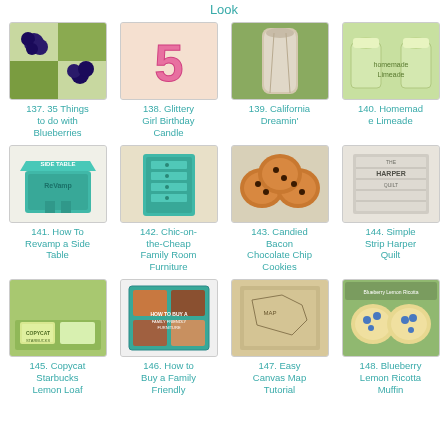Look
[Figure (photo): Blueberries collage]
137. 35 Things to do with Blueberries
[Figure (photo): Glittery number 5 birthday candle]
138. Glittery Girl Birthday Candle
[Figure (photo): California sandals / flip flops]
139. California Dreamin'
[Figure (photo): Homemade limeade in glasses]
140. Homemade Limeade
[Figure (photo): Teal side table revamp]
141. How To Revamp a Side Table
[Figure (photo): Teal family room furniture cabinet]
142. Chic-on-the-Cheap Family Room Furniture
[Figure (photo): Candied bacon chocolate chip cookies on plate]
143. Candied Bacon Chocolate Chip Cookies
[Figure (photo): Simple strip Harper quilt]
144. Simple Strip Harper Quilt
[Figure (photo): Copycat Starbucks lemon loaf with lemonade]
145. Copycat Starbucks Lemon Loaf
[Figure (photo): How to buy family friendly furniture infographic]
146. How to Buy a Family Friendly
[Figure (photo): Easy canvas map tutorial]
147. Easy Canvas Map Tutorial
[Figure (photo): Blueberry lemon ricotta muffin]
148. Blueberry Lemon Ricotta Muffin